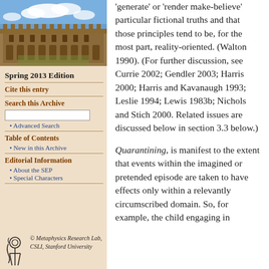[Figure (photo): Photograph of a historic stone university building with blue sky and clouds]
Spring 2013 Edition
Cite this entry
Search this Archive
Advanced Search
Table of Contents
New in this Archive
Editorial Information
About the SEP
Special Characters
© Metaphysics Research Lab, CSLI, Stanford University
'generate' or 'render make-believe' particular fictional truths and that those principles tend to be, for the most part, reality-oriented. (Walton 1990). (For further discussion, see Currie 2002; Gendler 2003; Harris 2000; Harris and Kavanaugh 1993; Leslie 1994; Lewis 1983b; Nichols and Stich 2000. Related issues are discussed below in section 3.3 below.)
Quarantining, is manifest to the extent that events within the imagined or pretended episode are taken to have effects only within a relevantly circumscribed domain. So, for example, the child engaging in